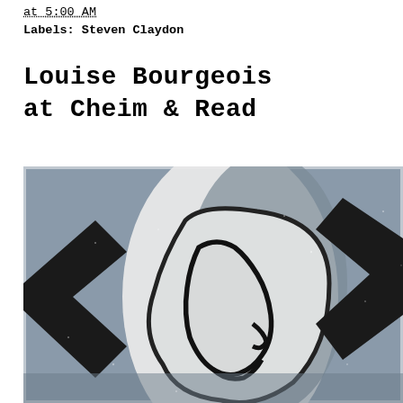at 5:00 AM
Labels: Steven Claydon
Louise Bourgeois at Cheim & Read
[Figure (photo): A cropped view of a Louise Bourgeois artwork showing abstract figures rendered in black outlines against a grey-blue textured background. The painting shows two face-like profile forms facing each other, with black angular shapes suggesting arms or limbs on either side. The image is partially cropped at the edges.]